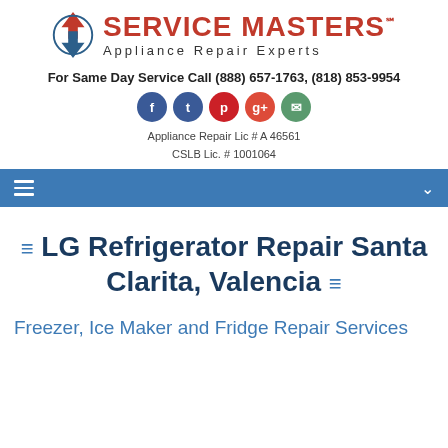[Figure (logo): Service Masters Appliance Repair Experts logo with red and blue arrow icon]
For Same Day Service Call (888) 657-1763, (818) 853-9954
[Figure (other): Social media icons: Facebook, Twitter, Pinterest, Google+, Email]
Appliance Repair Lic # A 46561
CSLB Lic. # 1001064
[Figure (other): Blue navigation bar with hamburger menu icon and chevron]
LG Refrigerator Repair Santa Clarita, Valencia
Freezer, Ice Maker and Fridge Repair Services